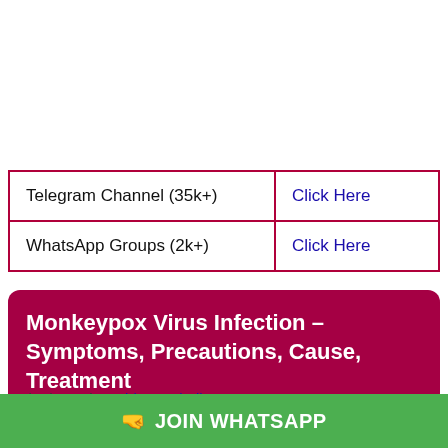|  |  |
| --- | --- |
| Telegram Channel (35k+) | Click Here |
| WhatsApp Groups (2k+) | Click Here |
Monkeypox Virus Infection – Symptoms, Precautions, Cause, Treatment
03/06/2022 by Jobkaregaindia
[Figure (other): Green JOIN WHATSAPP button bar at the bottom of the page]